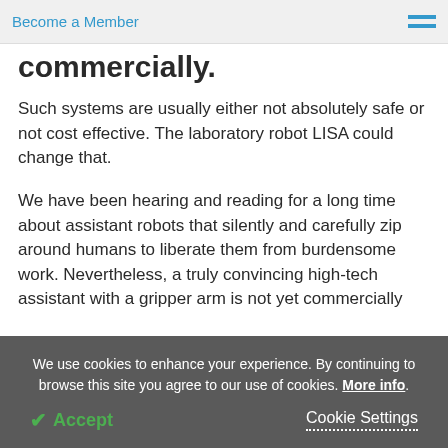Become a Member
commercially.
Such systems are usually either not absolutely safe or not cost effective. The laboratory robot LISA could change that.
We have been hearing and reading for a long time about assistant robots that silently and carefully zip around humans to liberate them from burdensome work. Nevertheless, a truly convincing high-tech assistant with a gripper arm is not yet commercially
We use cookies to enhance your experience. By continuing to browse this site you agree to our use of cookies. More info.
✔ Accept
Cookie Settings